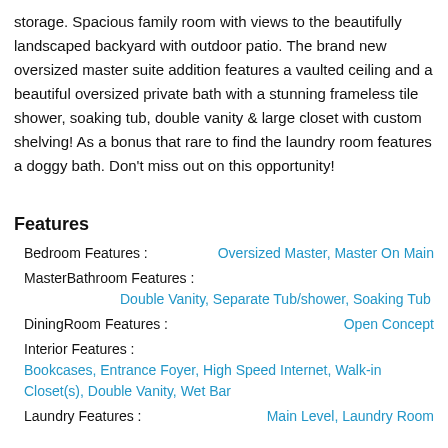storage. Spacious family room with views to the beautifully landscaped backyard with outdoor patio. The brand new oversized master suite addition features a vaulted ceiling and a beautiful oversized private bath with a stunning frameless tile shower, soaking tub, double vanity & large closet with custom shelving! As a bonus that rare to find the laundry room features a doggy bath. Don't miss out on this opportunity!
Features
Bedroom Features : Oversized Master, Master On Main
MasterBathroom Features :
Double Vanity, Separate Tub/shower, Soaking Tub
DiningRoom Features : Open Concept
Interior Features :
Bookcases, Entrance Foyer, High Speed Internet, Walk-in Closet(s), Double Vanity, Wet Bar
Laundry Features : Main Level, Laundry Room